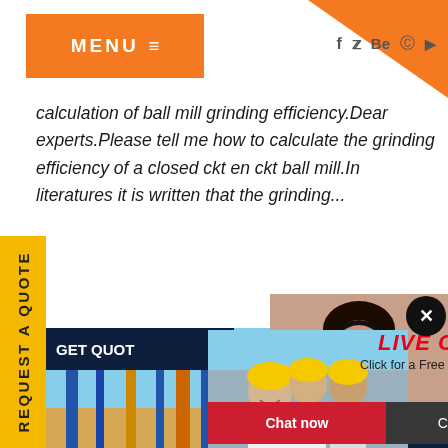MENU  ☰
calculation of ball mill grinding efficiency.Dear experts.Please tell me how to calculate the grinding efficiency of a closed ckt en ckt ball mill.In literatures it is written that the grinding...
[Figure (screenshot): Yellow REQUEST A QUOTE vertical tab on the left side of page]
[Figure (screenshot): Live chat popup overlay with workers photo, LIVE CHAT title in red italic, 'Click for a Free Consultation' subtitle, 'Chat now' red button and 'Chat later' dark button]
[Figure (photo): Customer service woman with headset on right side]
[Figure (photo): Industrial machinery / mining equipment photo background]
Have any requests, click here.
Quote
Enquiry
drobhilkalm